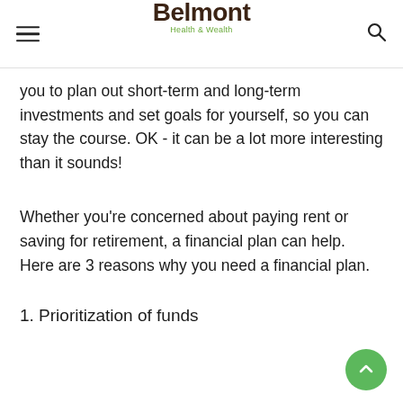Belmont Health & Wealth
you to plan out short-term and long-term investments and set goals for yourself, so you can stay the course. OK - it can be a lot more interesting than it sounds!
Whether you're concerned about paying rent or saving for retirement, a financial plan can help. Here are 3 reasons why you need a financial plan.
1. Prioritization of funds